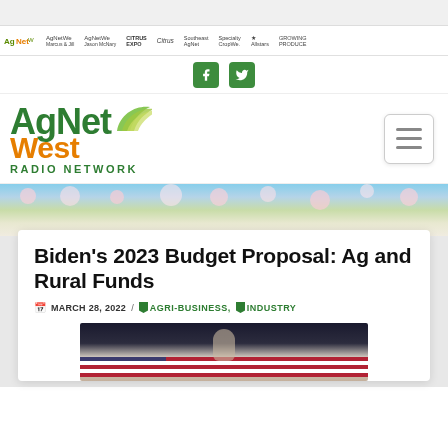AgNet West Radio Network
[Figure (screenshot): Navigation bar with multiple AgNet West branded site logos]
[Figure (logo): Social media icons: Facebook and Twitter in green square buttons]
[Figure (logo): AgNet West Radio Network logo with green AgNet text, orange West text, and leaf graphic, with hamburger menu button]
[Figure (photo): Hero background photo of cherry blossoms in bloom against blue sky]
Biden's 2023 Budget Proposal: Ag and Rural Funds
MARCH 28, 2022 / AGRI-BUSINESS, INDUSTRY
[Figure (photo): Photo of Biden with American flag in background]